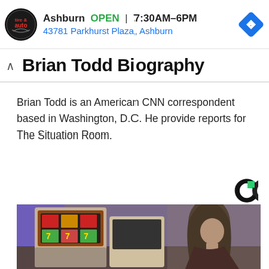[Figure (other): Advertisement banner for Virginia Tire & Auto in Ashburn. Shows logo, OPEN status, hours 7:30AM-6PM, address 43781 Parkhurst Plaza Ashburn, and navigation icon.]
Brian Todd Biography
Brian Todd is an American CNN correspondent based in Washington, D.C. He provide reports for The Situation Room.
[Figure (logo): Coinzilla advertising network logo - letter C in green and black]
[Figure (photo): Photo of a woman with dark hair looking at a slot machine in what appears to be a casino or gaming venue]